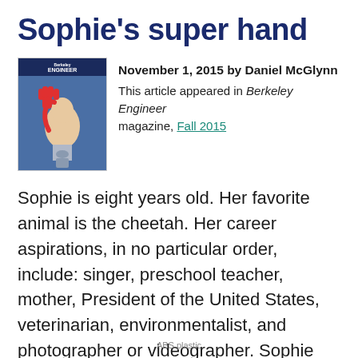Sophie's super hand
November 1, 2015 by Daniel McGlynn
This article appeared in Berkeley Engineer magazine, Fall 2015
[Figure (photo): Cover of Berkeley Engineer magazine showing a child with a red prosthetic hand raised up]
Sophie is eight years old. Her favorite animal is the cheetah. Her career aspirations, in no particular order, include: singer, preschool teacher, mother, President of the United States, veterinarian, environmentalist, and photographer or videographer. Sophie also has an arch nemesis: the monkey bars.
ABS plastic